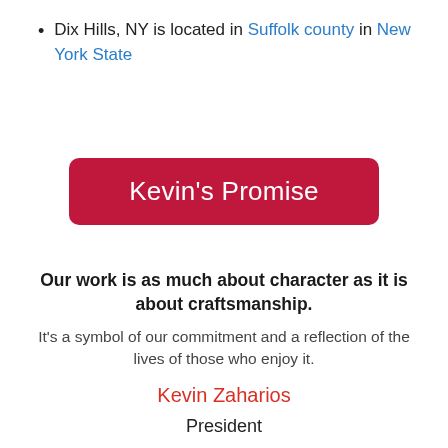Dix Hills, NY is located in Suffolk county in New York State
[Figure (other): Red rounded-rectangle button labeled Kevin's Promise]
Our work is as much about character as it is about craftsmanship.
It's a symbol of our commitment and a reflection of the lives of those who enjoy it.
Kevin Zaharios
President